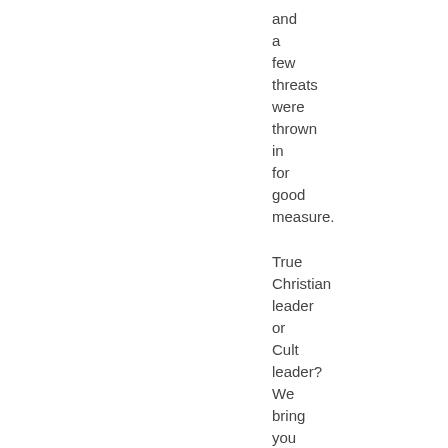and a few threats were thrown in for good measure.

True Christian leader or Cult leader? We bring you the facts. You decide.